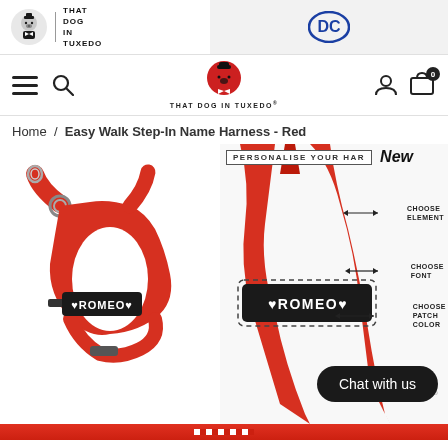That Dog In Tuxedo | DC Comics collaboration header with navigation bar
Home / Easy Walk Step-In Name Harness - Red
[Figure (photo): Red dog harness with black name patch reading ROMEO with heart symbols, step-in style harness showing D-ring and buckle]
[Figure (photo): Close-up of red dog harness showing personalisation options: Choose Element, Choose Font, Choose Patch Color, with ROMEO name patch visible]
Chat with us